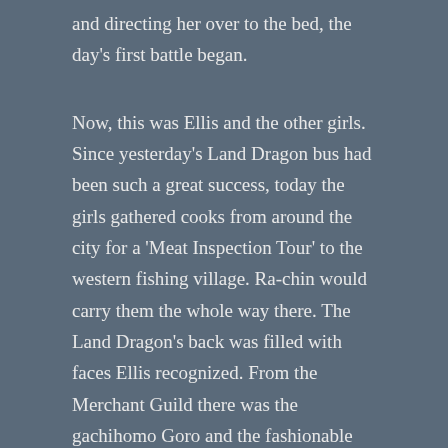and directing her over to the bed, the day's first battle began.
Now, this was Ellis and the other girls. Since yesterday's Land Dragon bus had been such a great success, today the girls gathered cooks from around the city for a 'Meat Inspection Tour' to the western fishing village. Ra-chin would carry them the whole way there. The Land Dragon's back was filled with faces Ellis recognized. From the Merchant Guild there was the gachihomo Goro and the fashionable gay Simon who were the respective cooks for Revitalizing Home and Mercury Bar, Mati from the Steamed Kitchen and Kaoru from the Pot and Kettle, and Shin from the